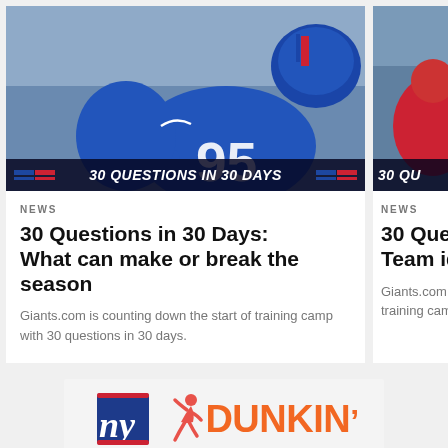[Figure (photo): NFL player in blue #95 Giants jersey in action on field, with overlay bar reading '30 QUESTIONS IN 30 DAYS']
NEWS
30 Questions in 30 Days: What can make or break the season
Giants.com is counting down the start of training camp with 30 questions in 30 days.
[Figure (photo): Partial view of Giants players in red and blue at training camp, with overlay bar reading '30 QU...']
NEWS
30 Quest... Team ide...
Giants.com is... training camp
[Figure (logo): NY Giants and Dunkin' Donuts co-branding advertisement with NY logo, running figure icon, and DUNKIN' text in orange]
[Figure (infographic): Social media share buttons: Facebook, Twitter, Email, and link icon in circles]